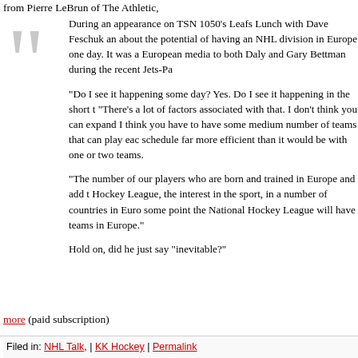from Pierre LeBrun of The Athletic,
During an appearance on TSN 1050's Leafs Lunch with Dave Feschuk and about the potential of having an NHL division in Europe one day. It was a European media to both Daly and Gary Bettman during the recent Jets-Pa“Do I see it happening some day? Yes. Do I see it happening in the short t“There’s a lot of factors associated with that. I don’t think you can expand I think you have to have some medium number of teams that can play eac schedule far more efficient than it would be with one or two teams.“The number of our players who are born and trained in Europe and add t Hockey League, the interest in the sport, in a number of countries in Euro some point the National Hockey League will have teams in Europe.”
Hold on, did he just say “inevitable?”
more (paid subscription)
Filed in: NHL Talk, | KK Hockey | Permalink
Tags: bill+daly